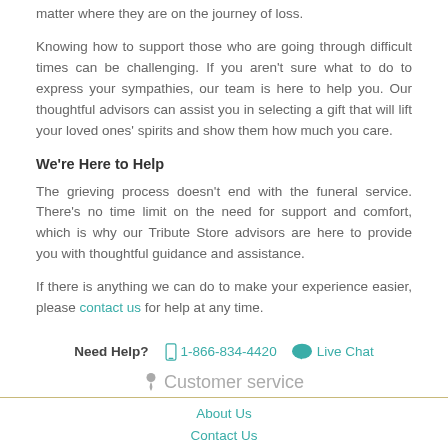matter where they are on the journey of loss.
Knowing how to support those who are going through difficult times can be challenging. If you aren't sure what to do to express your sympathies, our team is here to help you. Our thoughtful advisors can assist you in selecting a gift that will lift your loved ones' spirits and show them how much you care.
We're Here to Help
The grieving process doesn't end with the funeral service. There's no time limit on the need for support and comfort, which is why our Tribute Store advisors are here to provide you with thoughtful guidance and assistance.
If there is anything we can do to make your experience easier, please contact us for help at any time.
Need Help? 1-866-834-4420 Live Chat Customer service About Us Contact Us